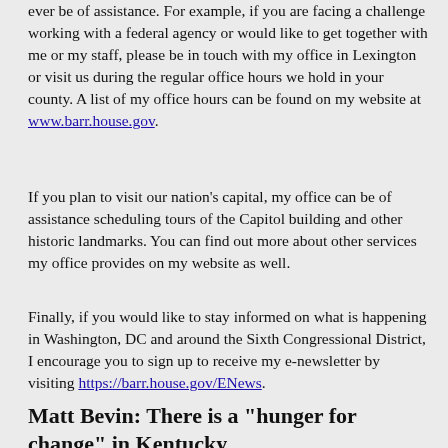ever be of assistance.  For example, if you are facing a challenge working with a federal agency or would like to get together with me or my staff, please be in touch with my office in Lexington or visit us during the regular office hours we hold in your county.  A list of my office hours can be found on my website at www.barr.house.gov.
If you plan to visit our nation’s capital, my office can be of assistance scheduling tours of the Capitol building and other historic landmarks.  You can find out more about other services my office provides on my website as well.
Finally, if you would like to stay informed on what is happening in Washington, DC and around the Sixth Congressional District, I encourage you to sign up to receive my e-newsletter by visiting https://barr.house.gov/ENews.
Matt Bevin: There is a “hunger for change” in Kentucky